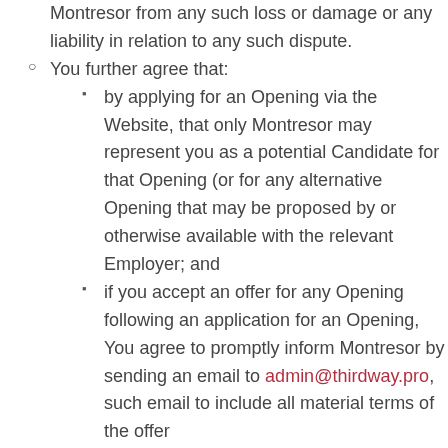Montresor from any such loss or damage or any liability in relation to any such dispute.
You further agree that:
by applying for an Opening via the Website, that only Montresor may represent you as a potential Candidate for that Opening (or for any alternative Opening that may be proposed by or otherwise available with the relevant Employer; and
if you accept an offer for any Opening following an application for an Opening, You agree to promptly inform Montresor by sending an email to admin@thirdway.pro, such email to include all material terms of the offer